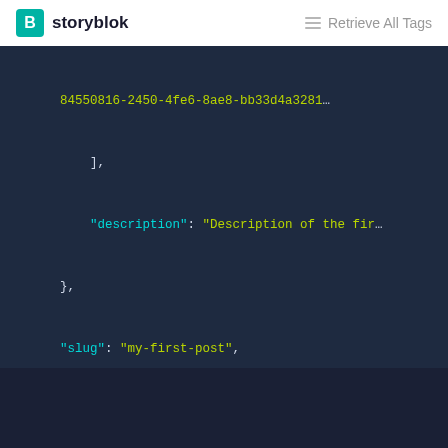B storyblok | Retrieve All Tags
[Figure (screenshot): JSON code block showing partial API response with fields: a UUID string ending in ...84550816-2450-4fe6-8ae8-bb33d4a3281..., closing bracket ], description field with value 'Description of the fir...', closing brace },  slug field with value 'my-first-post', full_slug field with value 'posts/my-first-post', ellipsis ..., closing brace },  ellipsis ..., closing bracket ], closing brace }]